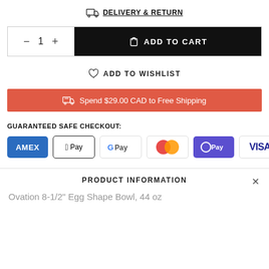DELIVERY & RETURN
- 1 + ADD TO CART
ADD TO WISHLIST
Spend $29.00 CAD to Free Shipping
GUARANTEED SAFE CHECKOUT:
[Figure (other): Payment icons: AMEX, Apple Pay, Google Pay, Mastercard, OPay, VISA]
PRODUCT INFORMATION
Ovation 8-1/2" Egg Shape Bowl, 44 oz